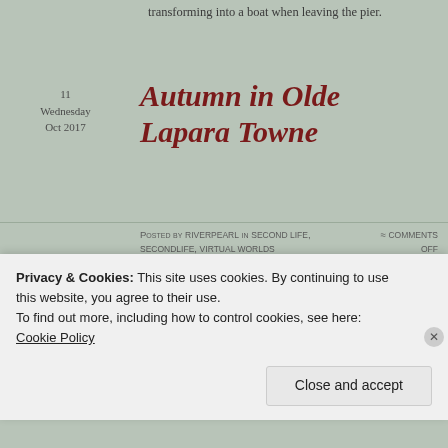transforming into a boat when leaving the pier.
11
Wednesday
Oct 2017
Autumn in Olde Lapara Towne
Posted by riverpearl in Second Life, secondlife, Virtual Worlds ≈ Comments Off
[Figure (photo): Virtual world scene showing brick buildings and autumn trees with golden foliage, resembling an old town setting in Second Life.]
Privacy & Cookies: This site uses cookies. By continuing to use this website, you agree to their use.
To find out more, including how to control cookies, see here: Cookie Policy
Close and accept